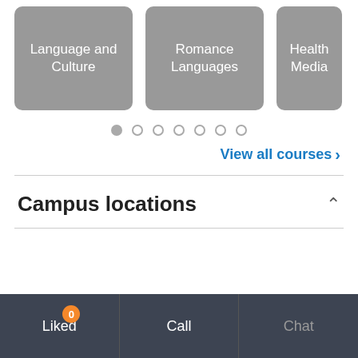[Figure (screenshot): Three category cards: 'Language and Culture', 'Romance Languages', 'Health Media (partial)' shown as grey rounded rectangles with white text]
[Figure (screenshot): Carousel pagination dots — 7 dots, first one filled/active]
View all courses >
Campus locations
Liked 0   Call   Chat